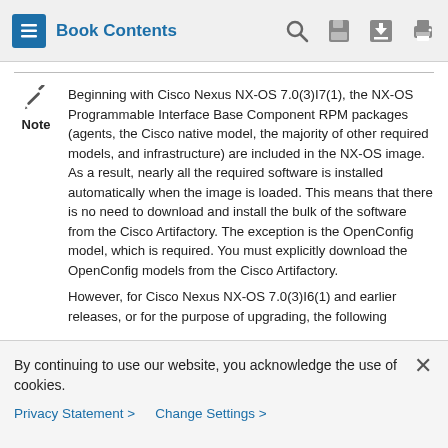Book Contents
Beginning with Cisco Nexus NX-OS 7.0(3)I7(1), the NX-OS Programmable Interface Base Component RPM packages (agents, the Cisco native model, the majority of other required models, and infrastructure) are included in the NX-OS image. As a result, nearly all the required software is installed automatically when the image is loaded. This means that there is no need to download and install the bulk of the software from the Cisco Artifactory. The exception is the OpenConfig model, which is required. You must explicitly download the OpenConfig models from the Cisco Artifactory.
However, for Cisco Nexus NX-OS 7.0(3)I6(1) and earlier releases, or for the purpose of upgrading, the following
By continuing to use our website, you acknowledge the use of cookies.
Privacy Statement > Change Settings >